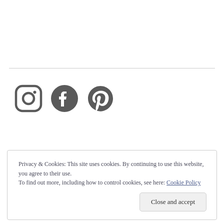[Figure (illustration): Social media icons for Instagram, Facebook, and Pinterest in dark gray]
Privacy & Cookies: This site uses cookies. By continuing to use this website, you agree to their use.
To find out more, including how to control cookies, see here: Cookie Policy
Close and accept